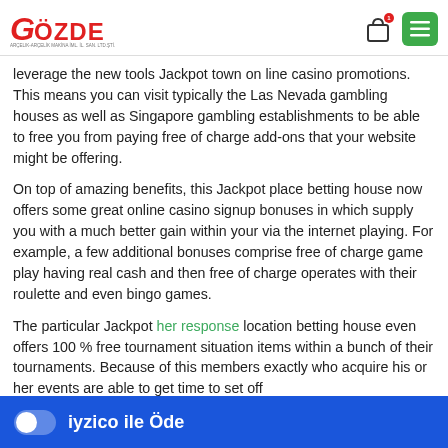[Figure (logo): Gözde company logo in red with subtitle text]
leverage the new tools Jackpot town on line casino promotions. This means you can visit typically the Las Nevada gambling houses as well as Singapore gambling establishments to be able to free you from paying free of charge add-ons that your website might be offering.
On top of amazing benefits, this Jackpot place betting house now offers some great online casino signup bonuses in which supply you with a much better gain within your via the internet playing. For example, a few additional bonuses comprise free of charge game play having real cash and then free of charge operates with their roulette and even bingo games.
The particular Jackpot her response location betting house even offers 100 % free tournament situation items within a bunch of their tournaments. Because of this members exactly who acquire his or her events are able to get time to set off about od dime. One must ertification that really ot usually
[Figure (screenshot): iyzico payment bar with toggle switch and 'iyzico ile Öde' text on blue background]